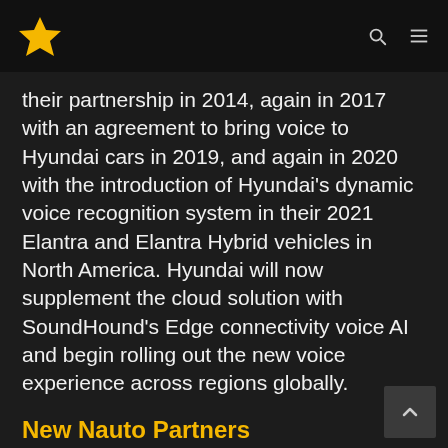[Star logo] [Search icon] [Menu icon]
their partnership in 2014, again in 2017 with an agreement to bring voice to Hyundai cars in 2019, and again in 2020 with the introduction of Hyundai's dynamic voice recognition system in their 2021 Elantra and Elantra Hybrid vehicles in North America. Hyundai will now supplement the cloud solution with SoundHound's Edge connectivity voice AI and begin rolling out the new voice experience across regions globally.
New Nauto Partners
Nauto®, a leading provider of AI-based vehicles of strategy for commercial...